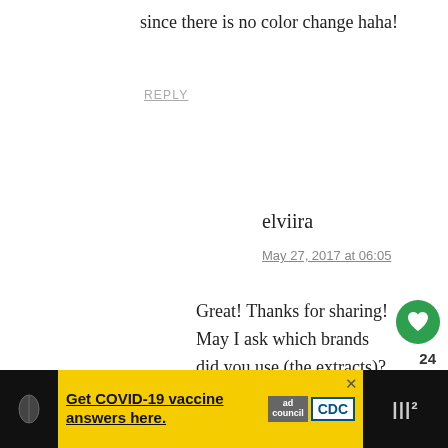since there is no color change haha!
REPLY
elviira
May 27, 2017 at 06:05
Great! Thanks for sharing! May I ask which brands did you use (the extracts)? I try to post the chocolate version within a couple of weeks.
[Figure (infographic): COVID-19 vaccine advertisement banner with yellow background, Ad Council and CDC logos, and close button]
Get COVID-19 vaccine answers here.